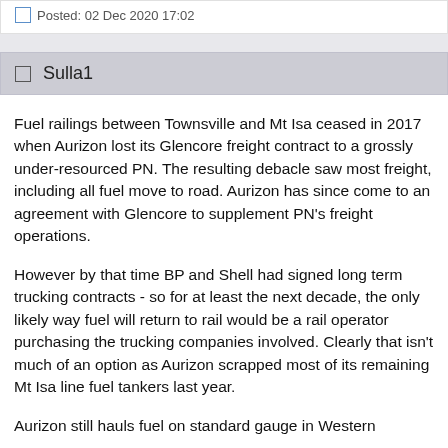Posted: 02 Dec 2020 17:02
Sulla1
Fuel railings between Townsville and Mt Isa ceased in 2017 when Aurizon lost its Glencore freight contract to a grossly under-resourced PN. The resulting debacle saw most freight, including all fuel move to road. Aurizon has since come to an agreement with Glencore to supplement PN's freight operations.
However by that time BP and Shell had signed long term trucking contracts - so for at least the next decade, the only likely way fuel will return to rail would be a rail operator purchasing the trucking companies involved. Clearly that isn't much of an option as Aurizon scrapped most of its remaining Mt Isa line fuel tankers last year.
Aurizon still hauls fuel on standard gauge in Western